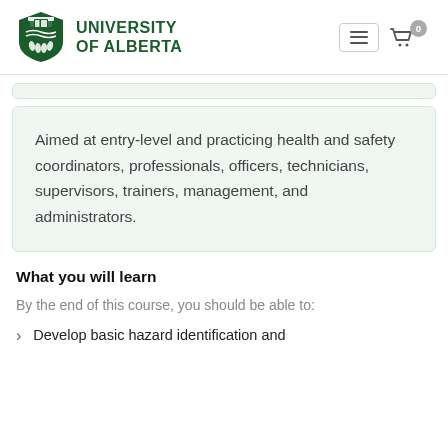[Figure (logo): University of Alberta shield logo and text header with navigation icons (hamburger menu and shopping cart with badge showing 0)]
[partially visible text above card]
Aimed at entry-level and practicing health and safety coordinators, professionals, officers, technicians, supervisors, trainers, management, and administrators.
What you will learn
By the end of this course, you should be able to:
Develop basic hazard identification and